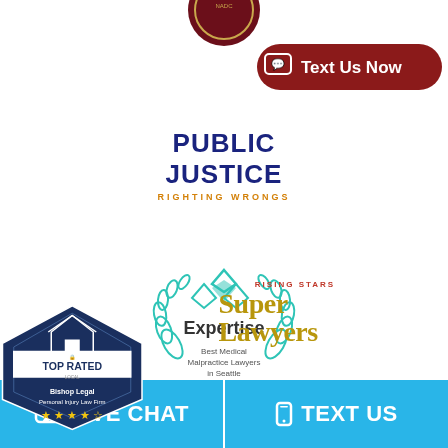[Figure (logo): Partial dark circular badge/seal cropped at top of page]
[Figure (logo): Text Us Now button in dark red rounded rectangle with chat bubble icon]
[Figure (logo): Public Justice - Righting Wrongs logo in dark blue and orange]
[Figure (logo): Expertise badge - Best Medical Malpractice Lawyers in Seattle 2020, teal diamond logo with laurel wreath]
[Figure (logo): Super Lawyers Rising Stars logo in gold serif font]
[Figure (logo): Top Rated Local badge - Bishop Legal Personal Injury Law Firm with stars, dark blue hexagon shape]
[Figure (logo): Bottom bar with Live Chat and Text Us buttons in light blue]